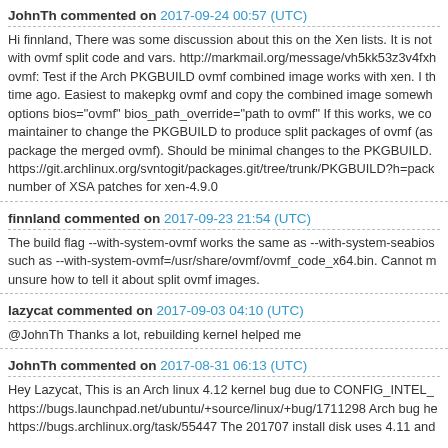JohnTh commented on 2017-09-24 00:57 (UTC)
Hi finnland, There was some discussion about this on the Xen lists. It is not with ovmf split code and vars. http://markmail.org/message/vh5kk53z3v4fxh ovmf: Test if the Arch PKGBUILD ovmf combined image works with xen. I th time ago. Easiest to makepkg ovmf and copy the combined image somewh options bios="ovmf" bios_path_override="path to ovmf" If this works, we co maintainer to change the PKGBUILD to produce split packages of ovmf (as package the merged ovmf). Should be minimal changes to the PKGBUILD. https://git.archlinux.org/svntogit/packages.git/tree/trunk/PKGBUILD?h=pack number of XSA patches for xen-4.9.0
finnland commented on 2017-09-23 21:54 (UTC)
The build flag --with-system-ovmf works the same as --with-system-seabios such as --with-system-ovmf=/usr/share/ovmf/ovmf_code_x64.bin. Cannot m unsure how to tell it about split ovmf images.
lazycat commented on 2017-09-03 04:10 (UTC)
@JohnTh Thanks a lot, rebuilding kernel helped me
JohnTh commented on 2017-08-31 06:13 (UTC)
Hey Lazycat, This is an Arch linux 4.12 kernel bug due to CONFIG_INTEL_ https://bugs.launchpad.net/ubuntu/+source/linux/+bug/1711298 Arch bug he https://bugs.archlinux.org/task/55447 The 201707 install disk uses 4.11 and